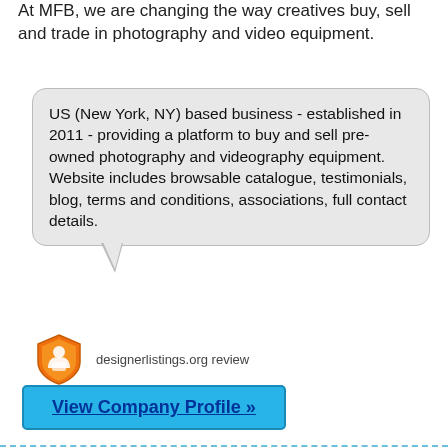At MFB, we are changing the way creatives buy, sell and trade in photography and video equipment.
US (New York, NY) based business - established in 2011 - providing a platform to buy and sell pre-owned photography and videography equipment. Website includes browsable catalogue, testimonials, blog, terms and conditions, associations, full contact details.
[Figure (logo): Orange shield-shaped designerlistings.org review icon with hands/book graphic]
designerlistings.org review
View Company Profile »